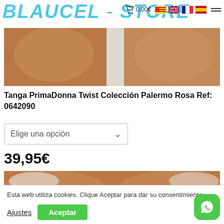BLAUCEL - STORE
[Figure (photo): Close-up product photo of a model wearing a rosa/pink tanga, top portion showing thighs and hips]
Tanga PrimaDonna Twist Colección Palermo Rosa Ref: 0642090
Elige una opción
39,95€
[Figure (photo): Close-up product photo of a model wearing a rosa/pink tanga, bottom portion showing waist and hips]
Esta web utiliza cookies. Clique Aceptar para dar su consentimiento.
Ajustes
Aceptar